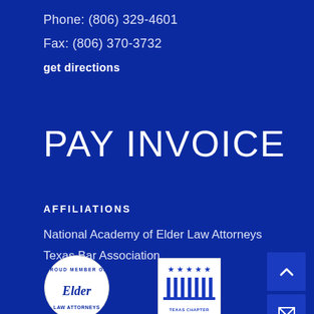Phone: (806) 329-4601
Fax: (806) 370-3732
get directions
PAY INVOICE
AFFILIATIONS
National Academy of Elder Law Attorneys
Texas Bar Association
[Figure (logo): Proud Member of Elder Law circular badge logo]
[Figure (logo): Texas bar association rectangular badge logo]